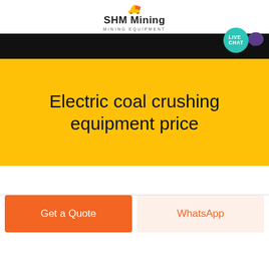SHM Mining MINING EQUIPMENT
[Figure (logo): SHM Mining logo with yellow excavator icon and text 'SHM Mining / MINING EQUIPMENT']
Electric coal crushing equipment price
Get a Quote
WhatsApp